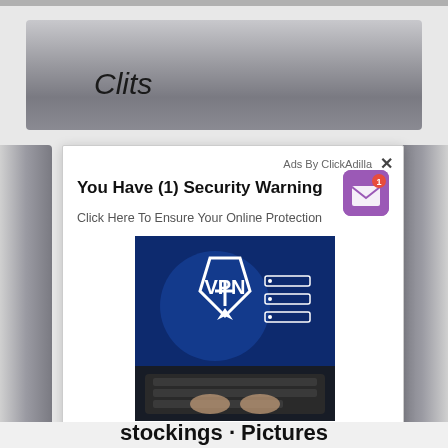Clits
[Figure (screenshot): Advertisement popup overlay showing 'You Have (1) Security Warning' with a VPN promotional image. The ad is labeled 'Ads By ClickAdilla' with a close (X) button. Below the title is text 'Click Here To Ensure Your Online Protection'. A purple mail icon with notification badge '1' appears in the top right of the ad. The main image shows a person's hands on a laptop keyboard with a VPN shield logo and server icons in a blue digital theme.]
stockings · Pictures